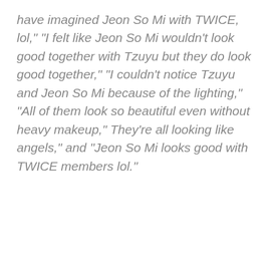have imagined Jeon So Mi with TWICE, lol," "I felt like Jeon So Mi wouldn't look good together with Tzuyu but they do look good together," "I couldn't notice Tzuyu and Jeon So Mi because of the lighting," "All of them look so beautiful even without heavy makeup," They're all looking like angels," and "Jeon So Mi looks good with TWICE members lol."